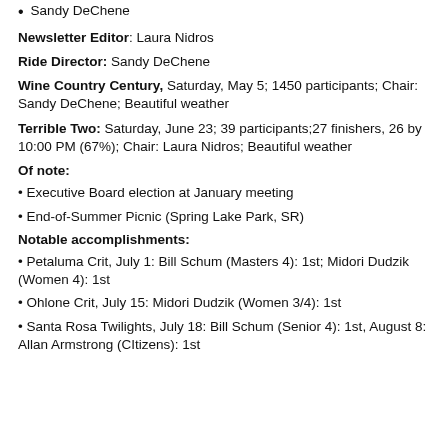Sandy DeChene
Newsletter Editor: Laura Nidros
Ride Director: Sandy DeChene
Wine Country Century, Saturday, May 5; 1450 participants; Chair: Sandy DeChene; Beautiful weather
Terrible Two: Saturday, June 23; 39 participants;27 finishers, 26 by 10:00 PM (67%); Chair: Laura Nidros; Beautiful weather
Of note:
Executive Board election at January meeting
End-of-Summer Picnic (Spring Lake Park, SR)
Notable accomplishments:
Petaluma Crit, July 1: Bill Schum (Masters 4): 1st; Midori Dudzik (Women 4): 1st
Ohlone Crit, July 15: Midori Dudzik (Women 3/4): 1st
Santa Rosa Twilights, July 18: Bill Schum (Senior 4): 1st, August 8: Allan Armstrong (Citizens): 1st